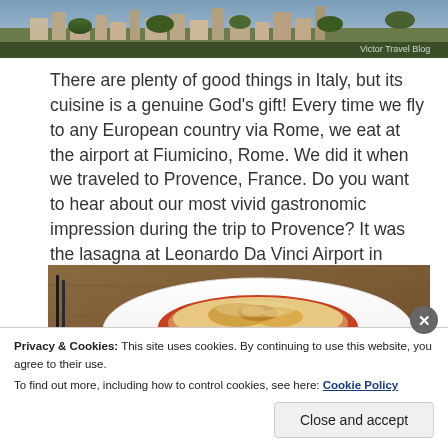[Figure (photo): Aerial or elevated view of an Italian city/town with buildings and trees, with 'Victor Travel Blog' watermark in lower right corner]
There are plenty of good things in Italy, but its cuisine is a genuine God's gift! Every time we fly to any European country via Rome, we eat at the airport at Fiumicino, Rome. We did it when we traveled to Provence, France. Do you want to hear about our most vivid gastronomic impression during the trip to Provence? It was the lasagna at Leonardo Da Vinci Airport in Fiumicino, Rome.
[Figure (photo): A plate of lasagna on a white dish, served on a wooden table]
Privacy & Cookies: This site uses cookies. By continuing to use this website, you agree to their use.
To find out more, including how to control cookies, see here: Cookie Policy
Close and accept